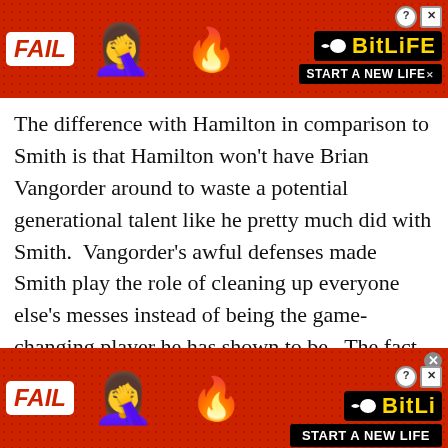[Figure (screenshot): Top advertisement banner for BitLife game app, red background with FAIL badge, facepalm emoji, fire emoji, BitLife logo, and START A NEW LIFE button]
The difference with Hamilton in comparison to Smith is that Hamilton won't have Brian Vangorder around to waste a potential generational talent like he pretty much did with Smith.  Vangorder's awful defenses made Smith play the role of cleaning up everyone else's messes instead of being the game-changing player he has shown to be.  The fact that Smith won the Butkus Award and was a 2nd round pick after shredding his knee in spite of Vangorder is still...
[Figure (screenshot): Bottom advertisement banner for BitLife game app, red background with FAIL badge, facepalm emoji, fire emoji, BitLife logo, and START A NEW LIFE button]